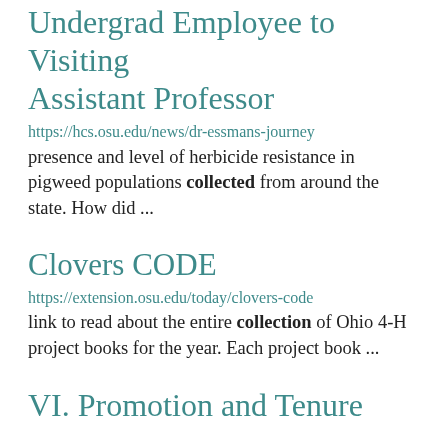Undergrad Employee to Visiting Assistant Professor
https://hcs.osu.edu/news/dr-essmans-journey
presence and level of herbicide resistance in pigweed populations collected from around the state.  How did ...
Clovers CODE
https://extension.osu.edu/today/clovers-code
link to read about the entire collection of Ohio 4-H project books for the year. Each project book ...
VI. Promotion and Tenure